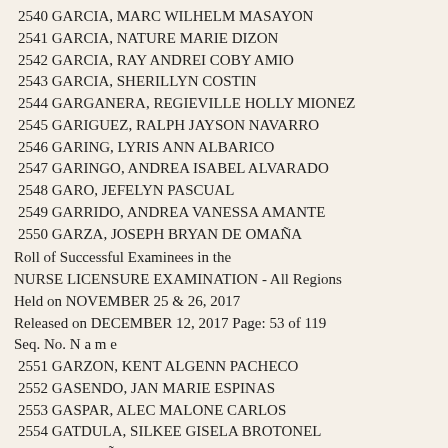2540 GARCIA, MARC WILHELM MASAYON
2541 GARCIA, NATURE MARIE DIZON
2542 GARCIA, RAY ANDREI COBY AMIO
2543 GARCIA, SHERILLYN COSTIN
2544 GARGANERA, REGIEVILLE HOLLY MIONEZ
2545 GARIGUEZ, RALPH JAYSON NAVARRO
2546 GARING, LYRIS ANN ALBARICO
2547 GARINGO, ANDREA ISABEL ALVARADO
2548 GARO, JEFELYN PASCUAL
2549 GARRIDO, ANDREA VANESSA AMANTE
2550 GARZA, JOSEPH BRYAN DE OMAÑA
Roll of Successful Examinees in the
NURSE LICENSURE EXAMINATION - All Regions
Held on NOVEMBER 25 & 26, 2017
Released on DECEMBER 12, 2017 Page: 53 of 119
Seq. No. N a m e
2551 GARZON, KENT ALGENN PACHECO
2552 GASENDO, JAN MARIE ESPINAS
2553 GASPAR, ALEC MALONE CARLOS
2554 GATDULA, SILKEE GISELA BROTONEL
2555 GAVILEÑO, HERLYZYL MAY GONZALES
2556 GAVIOLA, GERALDINE NOELLE DENISE BRIONES